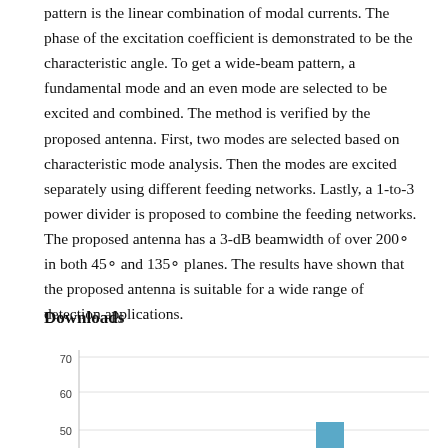pattern is the linear combination of modal currents. The phase of the excitation coefficient is demonstrated to be the characteristic angle. To get a wide-beam pattern, a fundamental mode and an even mode are selected to be excited and combined. The method is verified by the proposed antenna. First, two modes are selected based on characteristic mode analysis. Then the modes are excited separately using different feeding networks. Lastly, a 1-to-3 power divider is proposed to combine the feeding networks. The proposed antenna has a 3-dB beamwidth of over 200° in both 45° and 135° planes. The results have shown that the proposed antenna is suitable for a wide range of detection applications.
Downloads
[Figure (bar-chart): Bar chart showing downloads over time, y-axis visible from 50 to 70, with a bar visible around value 52 near the right side. Chart is partially cut off at the bottom.]